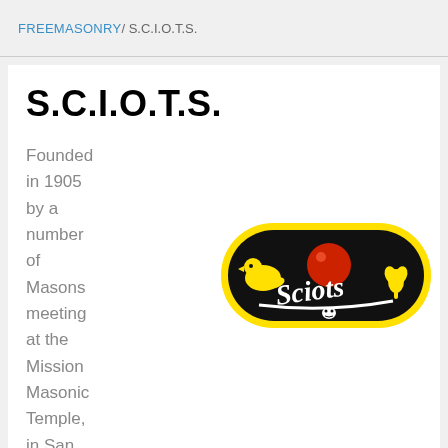FREEMASONRY / S.C.I.O.T.S.
S.C.I.O.T.S.
[Figure (logo): S.C.I.O.T.S. logo: black pill-shaped badge with yellow border containing cursive 'Sciots' lettering in white, a red circle/sphere, a yellow bird figure on the left, and a yellow tulip/flame on the right]
Founded in 1905 by a number of Masons meeting at the Mission Masonic Temple, in San